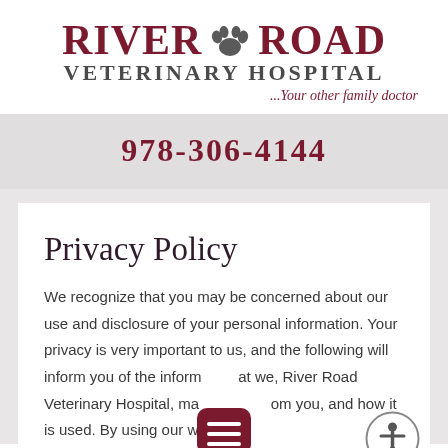[Figure (logo): River Road Veterinary Hospital logo with paw print icon and tagline '...Your other family doctor']
978-306-4144
Privacy Policy
We recognize that you may be concerned about our use and disclosure of your personal information. Your privacy is very important to us, and the following will inform you of the information that we, River Road Veterinary Hospital, may collect from you, and how it is used. By using our web